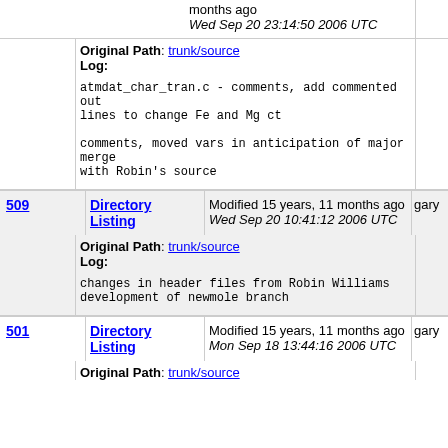months ago
Wed Sep 20 23:14:50 2006 UTC
Original Path: trunk/source
Log:
atmdat_char_tran.c - comments, add commented out lines to change Fe and Mg ct

comments, moved vars in anticipation of major merge with Robin's source
509  Directory Listing  Modified 15 years, 11 months ago  Wed Sep 20 10:41:12 2006 UTC  gary
Original Path: trunk/source
Log:
changes in header files from Robin Williams development of newmole branch
501  Directory Listing  Modified 15 years, 11 months ago  Mon Sep 18 13:44:16 2006 UTC  gary
Original Path: trunk/source